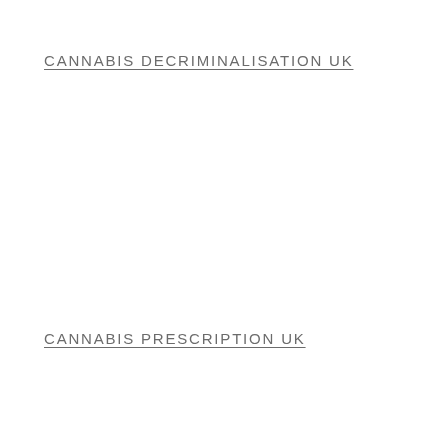CANNABIS DECRIMINALISATION UK
CANNABIS PRESCRIPTION UK